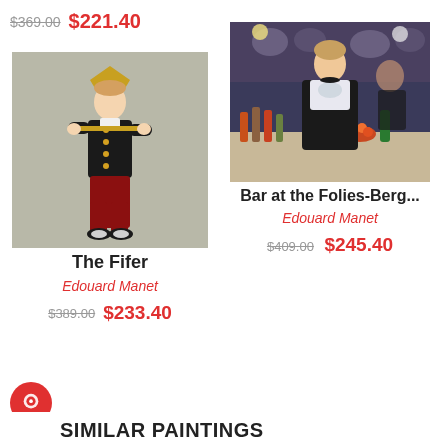$369.00  $221.40
[Figure (photo): Painting of a young boy in military costume playing a fife, wearing a red cap and red trousers - 'The Fifer' by Edouard Manet]
The Fifer
Edouard Manet
$389.00  $233.40
[Figure (photo): Painting of a woman bartender standing at a bar with bottles and a mirror reflection - 'Bar at the Folies-Berg...' by Edouard Manet]
Bar at the Folies-Berg...
Edouard Manet
$409.00  $245.40
SIMILAR PAINTINGS